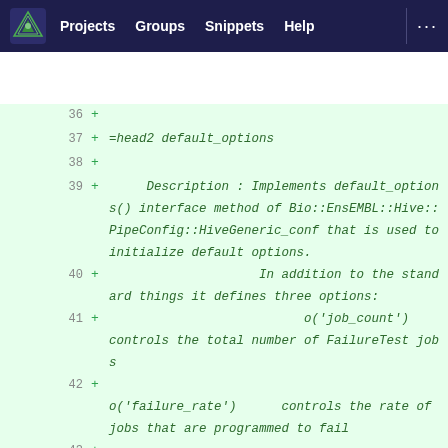Projects  Groups  Snippets  Help  ...
[Figure (screenshot): GitLab diff view showing lines 36-43 of a Perl/POD source file with added lines showing documentation for a default_options() method including descriptions of o('job_count') and o('failure_rate') options]